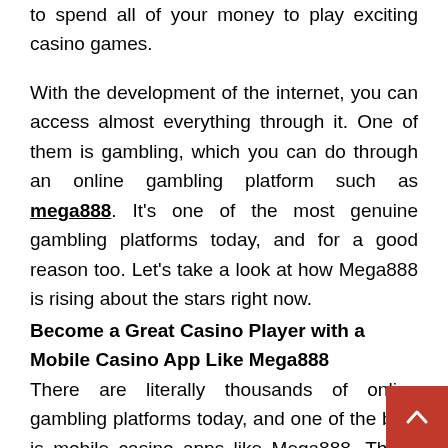to spend all of your money to play exciting casino games.
With the development of the internet, you can access almost everything through it. One of them is gambling, which you can do through an online gambling platform such as mega888. It's one of the most genuine gambling platforms today, and for a good reason too. Let's take a look at how Mega888 is rising about the stars right now.
Become a Great Casino Player with a Mobile Casino App Like Mega888
There are literally thousands of online gambling platforms today, and one of the best is mobile casino apps like Mega888. These are incredibly accessible and convenient, so you don't need to stay at home and